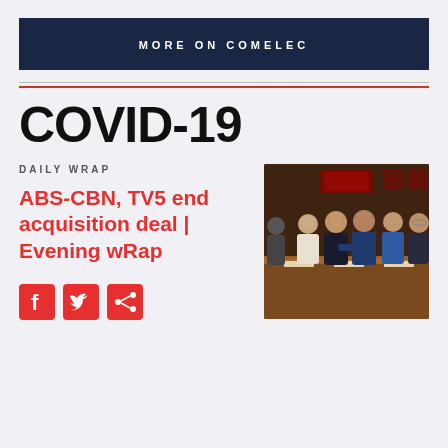MORE ON COMELEC
COVID-19
DAILY WRAP
ABS-CBN, TV5 end acquisition deal | Evening wRap
[Figure (photo): Group of business executives standing behind a conference table, shaking hands, in a formal meeting room.]